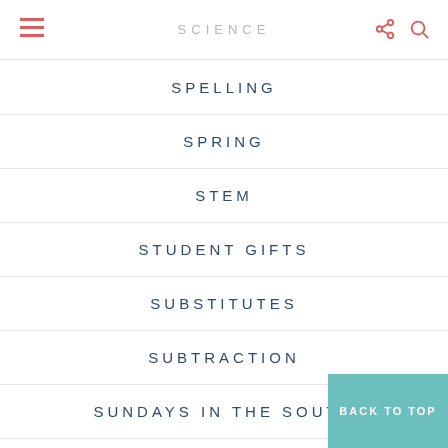SCIENCE
SPELLING
SPRING
STEM
STUDENT GIFTS
SUBSTITUTES
SUBTRACTION
SUNDAYS IN THE SOUTH
SUPER BOWL
SUPERBOWL